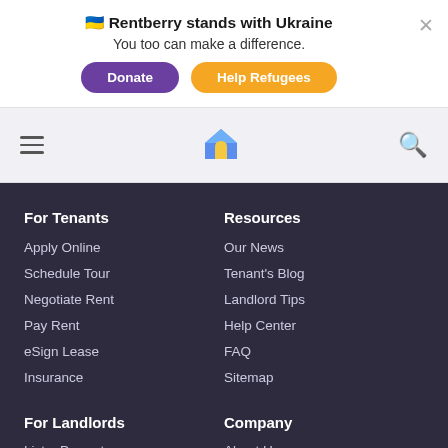🇺🇦 Rentberry stands with Ukraine
You too can make a difference.
Donate | Help Refugees
[Figure (screenshot): Navigation bar with hamburger menu, Rentberry house logo, and search icon]
For Tenants
Apply Online
Schedule Tour
Negotiate Rent
Pay Rent
eSign Lease
Insurance
Resources
Our News
Tenant's Blog
Landlord Tips
Help Center
FAQ
Sitemap
For Landlords
List a Property
Company
About Us